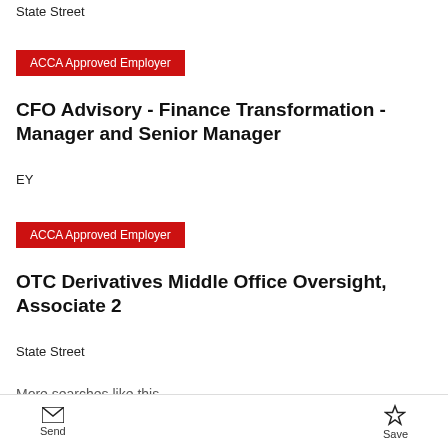State Street
ACCA Approved Employer
CFO Advisory - Finance Transformation - Manager and Senior Manager
EY
ACCA Approved Employer
OTC Derivatives Middle Office Oversight, Associate 2
State Street
More searches like this
Send  Save